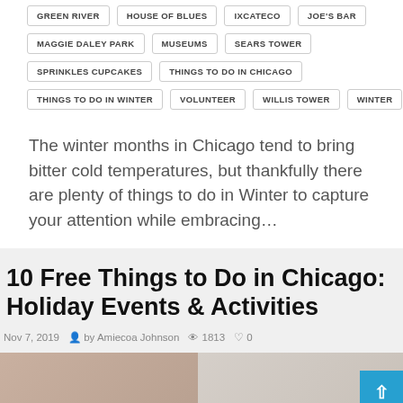GREEN RIVER
HOUSE OF BLUES
IXCATECO
JOE'S BAR
MAGGIE DALEY PARK
MUSEUMS
SEARS TOWER
SPRINKLES CUPCAKES
THINGS TO DO IN CHICAGO
THINGS TO DO IN WINTER
VOLUNTEER
WILLIS TOWER
WINTER
The winter months in Chicago tend to bring bitter cold temperatures, but thankfully there are plenty of things to do in Winter to capture your attention while embracing…
10 Free Things to Do in Chicago: Holiday Events & Activities
Nov 7, 2019  by Amiecoa Johnson  1813  0